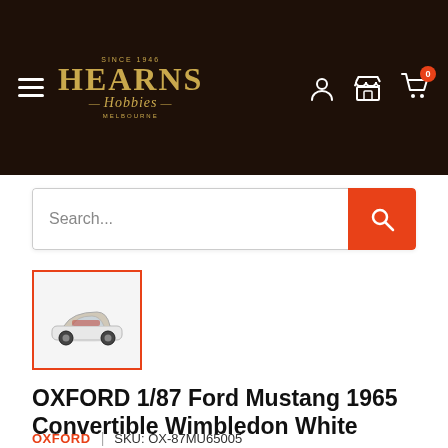Hearns Hobbies — navigation header with logo, hamburger menu, user icon, store icon, cart icon (0 items)
[Figure (screenshot): Search bar with text input placeholder 'Search...' and orange search button]
[Figure (photo): Thumbnail image of a white 1965 Ford Mustang convertible die-cast model car, selected (orange border)]
OXFORD 1/87 Ford Mustang 1965 Convertible Wimbledon White
OXFORD | SKU: OX-87MU65005
Price: $16.99 AUD